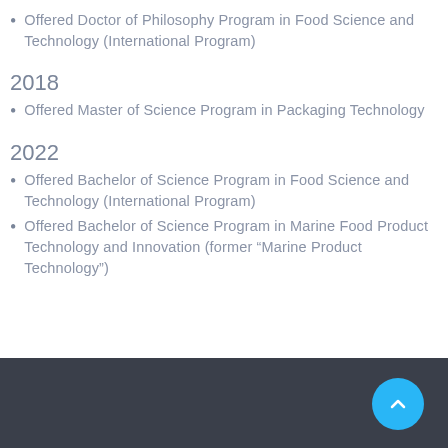Offered Doctor of Philosophy Program in Food Science and Technology (International Program)
2018
Offered Master of Science Program in Packaging Technology
2022
Offered Bachelor of Science Program in Food Science and Technology (International Program)
Offered Bachelor of Science Program in Marine Food Product Technology and Innovation (former “Marine Product Technology”)